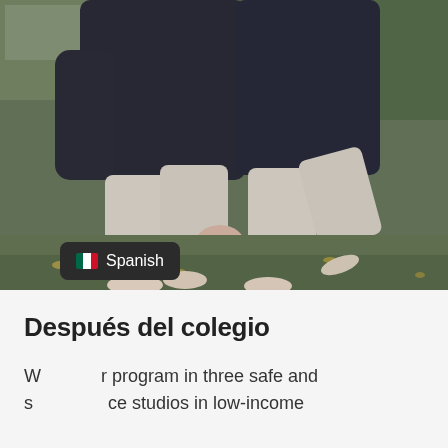[Figure (photo): Two ballet dancers in black leotards and light pink tights and pointe shoes, standing on grass outdoors holding hands, photographed from torso down. Garden setting with leaves on ground.]
Después del colegio
W... r program in three safe and s... ce studios in low-income